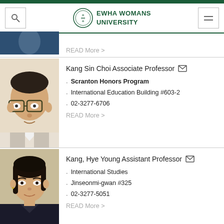[Figure (logo): Ewha Womans University logo with circular emblem and green text]
[Figure (photo): Partial photo of a professor in dark clothing, only upper portion visible]
READ More
[Figure (photo): Headshot photo of Kang Sin Choi, male professor wearing glasses]
Kang Sin Choi Associate Professor
Scranton Honors Program
International Education Building #603-2
02-3277-6706
READ More
[Figure (photo): Headshot photo of Kang, Hye Young, female professor]
Kang, Hye Young Assistant Professor
International Studies
Jinseonmi-gwan #325
02-3277-5051
READ More